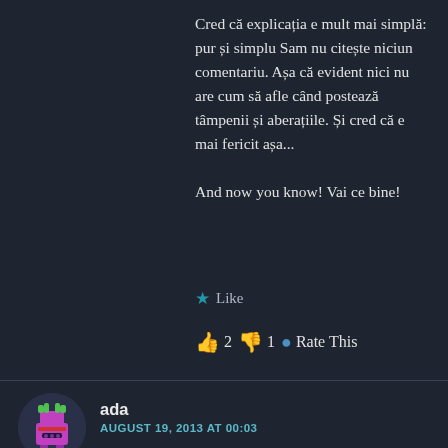Cred că explicația e mult mai simplă: pur și simplu Sam nu citește niciun comentariu. Așa că evident nici nu are cum să afle când postează tâmpenii și aberațiile. Și cred că e mai fericit așa...

And now you know! Vai ce bine!
★ Like
👍 2 👎 1 🔵 Rate This
ada
AUGUST 19, 2013 AT 00:03
im not a monarchist, but I remembsr kung Mihai likes in Versaire... french architec... not sure...)